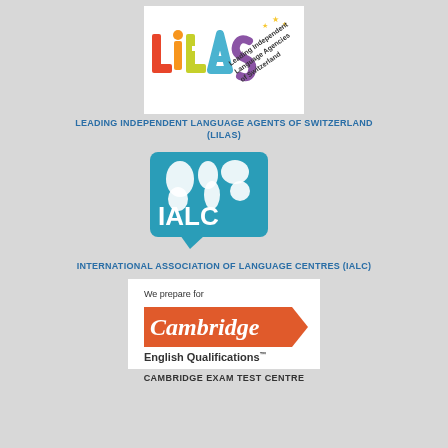[Figure (logo): LILAS - Leading Independent Language Agencies of Switzerland logo with colorful rainbow-style letters and text]
LEADING INDEPENDENT LANGUAGE AGENTS OF SWITZERLAND (LILAS)
[Figure (logo): IALC Partner logo - blue square with world map and speech bubble showing IALC text with Partner written on the side]
INTERNATIONAL ASSOCIATION OF LANGUAGE CENTRES (IALC)
[Figure (logo): Cambridge English Qualifications - We prepare for Cambridge logo with orange arrow banner and English Qualifications text]
CAMBRIDGE EXAM TEST CENTRE